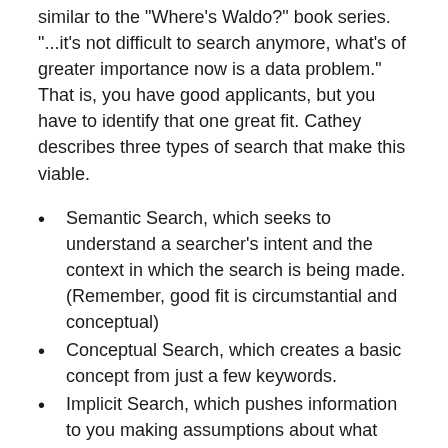similar to the "Where's Waldo?" book series. "...it's not difficult to search anymore, what's of greater importance now is a data problem." That is, you have good applicants, but you have to identify that one great fit. Cathey describes three types of search that make this viable.
Semantic Search, which seeks to understand a searcher's intent and the context in which the search is being made. (Remember, good fit is circumstantial and conceptual)
Conceptual Search, which creates a basic concept from just a few keywords.
Implicit Search, which pushes information to you making assumptions about what you're trying to accomplish "...much like how Google automatically pushes restaurant recommendations in your local area..." I have to admit, I'm always impressed when Google knows that I only want local